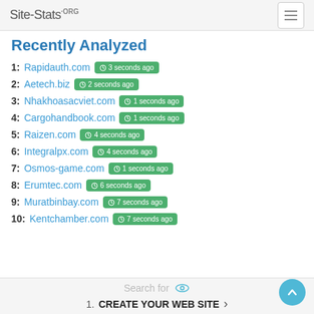Site-Stats.ORG
Recently Analyzed
1: Rapidauth.com  3 seconds ago
2: Aetech.biz  2 seconds ago
3: Nhakhoasacviet.com  1 seconds ago
4: Cargohandbook.com  1 seconds ago
5: Raizen.com  4 seconds ago
6: Integralpx.com  4 seconds ago
7: Osmos-game.com  1 seconds ago
8: Erumtec.com  6 seconds ago
9: Muratbinbay.com  7 seconds ago
10: Kentchamber.com  7 seconds ago
Search for  |  1. CREATE YOUR WEB SITE >